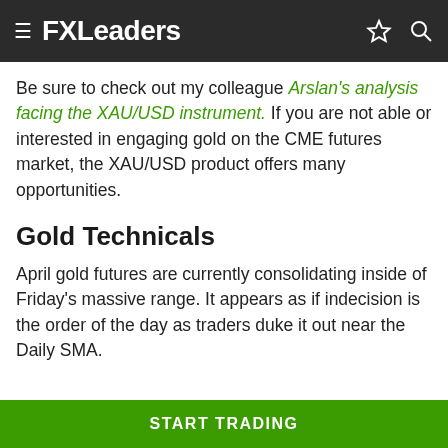FXLeaders
Be sure to check out my colleague Arslan's analysis facing the XAU/USD instrument. If you are not able or interested in engaging gold on the CME futures market, the XAU/USD product offers many opportunities.
Gold Technicals
April gold futures are currently consolidating inside of Friday's massive range. It appears as if indecision is the order of the day as traders duke it out near the Daily SMA.
START TRADING